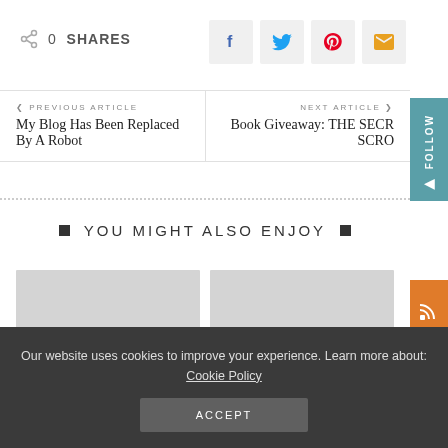0 SHARES
[Figure (infographic): Social share buttons: Facebook (f), Twitter (bird), Pinterest (P), Email (envelope)]
< PREVIOUS ARTICLE
My Blog Has Been Replaced By A Robot
NEXT ARTICLE >
Book Giveaway: THE SECR SCRO
YOU MIGHT ALSO ENJOY
[Figure (photo): Two placeholder image cards side by side (light gray rectangles)]
Our website uses cookies to improve your experience. Learn more about: Cookie Policy
ACCEPT